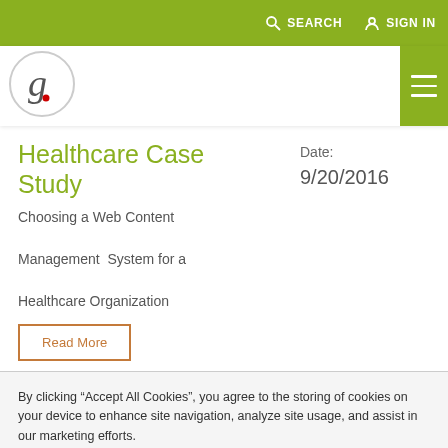SEARCH  SIGN IN
[Figure (logo): Gartner logo circle with letter g]
Healthcare Case Study
Date:
9/20/2016
Choosing a Web Content Management System for a Healthcare Organization
Read More
By clicking “Accept All Cookies”, you agree to the storing of cookies on your device to enhance site navigation, analyze site usage, and assist in our marketing efforts.
Accept All Cookies
Cookies Settings